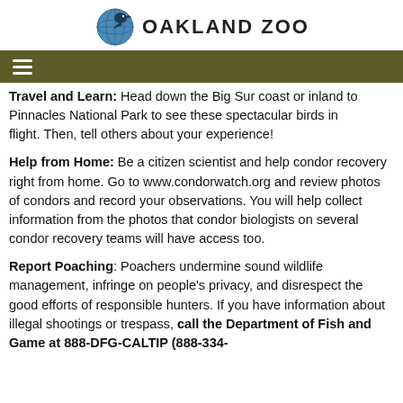[Figure (logo): Oakland Zoo logo with globe/bird icon and text 'OAKLAND ZOO']
≡ (navigation hamburger menu, olive/dark green bar)
Travel and Learn: Head down the Big Sur coast or inland to Pinnacles National Park to see these spectacular birds in flight. Then, tell others about your experience!
Help from Home: Be a citizen scientist and help condor recovery right from home. Go to www.condorwatch.org and review photos of condors and record your observations. You will help collect information from the photos that condor biologists on several condor recovery teams will have access too.
Report Poaching: Poachers undermine sound wildlife management, infringe on people's privacy, and disrespect the good efforts of responsible hunters. If you have information about illegal shootings or trespass, call the Department of Fish and Game at 888-DFG-CALTIP (888-334-